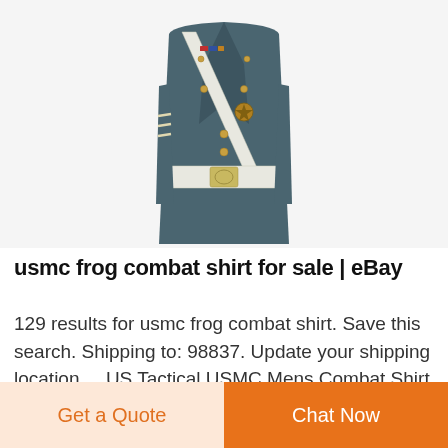[Figure (photo): Photo of a military dress uniform jacket in dark teal/grey color with gold buttons, white belt with gold buckle, white diagonal strap, sergeant chevron rank insignia on sleeve, medals/ribbons on chest, and a gold badge — photographed on white background.]
usmc frog combat shirt for sale | eBay
129 results for usmc frog combat shirt. Save this search. Shipping to: 98837. Update your shipping location ... US Tactical USMC Mens Combat Shirt Military Jacket Digital Woodland Camo S. Brand New.
Get a Quote
Chat Now